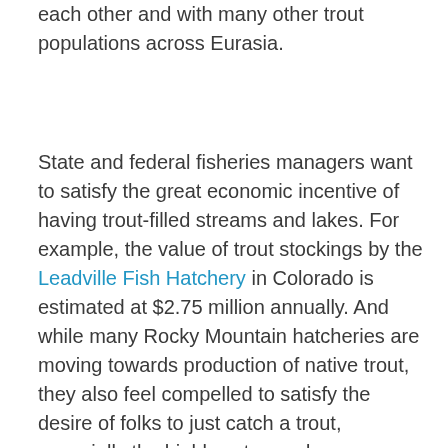each other and with many other trout populations across Eurasia.
State and federal fisheries managers want to satisfy the great economic incentive of having trout-filled streams and lakes. For example, the value of trout stockings by the Leadville Fish Hatchery in Colorado is estimated at $2.75 million annually. And while many Rocky Mountain hatcheries are moving towards production of native trout, they also feel compelled to satisfy the desire of folks to just catch a trout, especially the highly esteemed (overesteemed?) rainbow. Originally from the McCloud River, a tributary of California's Sacramento River, rainbow trout have probably been introduced to more places worldwide than any other fish species. They have misplaced and reduced native species time and